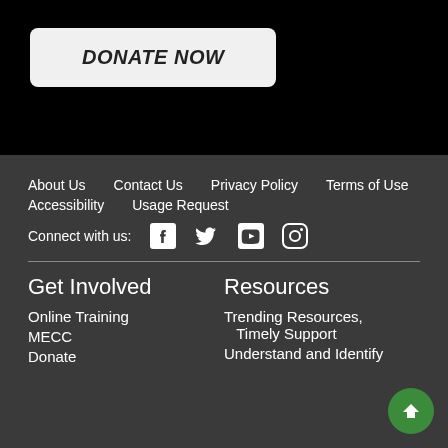DONATE NOW
About Us
Contact Us
Privacy Policy
Terms of Use
Accessibility
Usage Request
Connect with us:
Get Involved
Online Training
MECC
Donate
Resources
Trending Resources, Timely Support
Understand and Identify